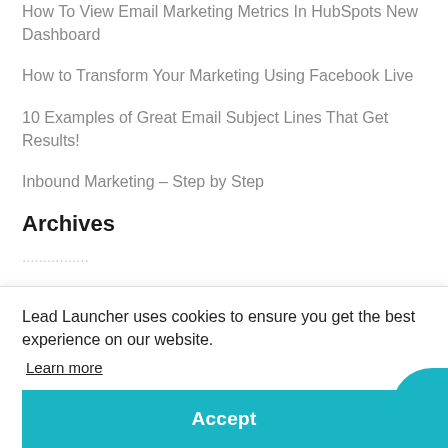How To View Email Marketing Metrics In HubSpots New Dashboard
How to Transform Your Marketing Using Facebook Live
10 Examples of Great Email Subject Lines That Get Results!
Inbound Marketing – Step by Step
Archives
[blurred text]
Lead Launcher uses cookies to ensure you get the best experience on our website.
Learn more
Accept